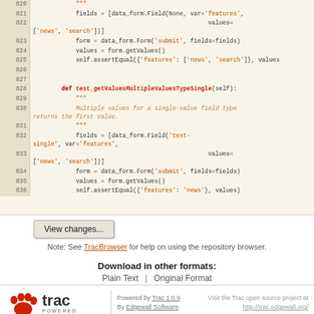[Figure (screenshot): Source code viewer showing Python code lines 820–836 with line numbers on left, code on right. Syntax highlighted with keywords in dark red/bold and string literals in orange.]
View changes...
Note: See TracBrowser for help on using the repository browser.
Download in other formats:
Plain Text | Original Format
[Figure (logo): Trac powered logo with red paw print and 'trac POWERED' text]
Powered by Trac 1.0.9
By Edgewall Software.
Visit the Trac open source project at
http://trac.edgewall.org/